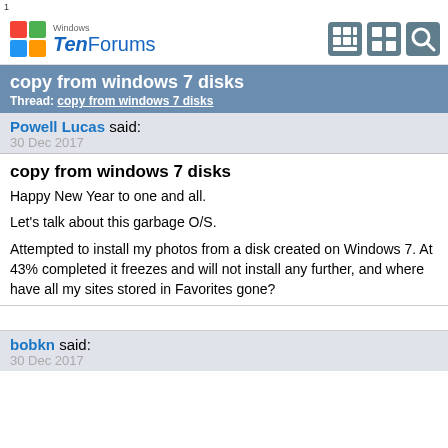1
[Figure (logo): Windows TenForums logo with colorful Windows icon and navigation icons]
copy from windows 7 disks
Thread: copy from windows 7 disks
Powell Lucas said:
30 Dec 2017
copy from windows 7 disks
Happy New Year to one and all.

Let's talk about this garbage O/S.

Attempted to install my photos from a disk created on Windows 7. At 43% completed it freezes and will not install any further, and where have all my sites stored in Favorites gone?
bobkn said:
30 Dec 2017